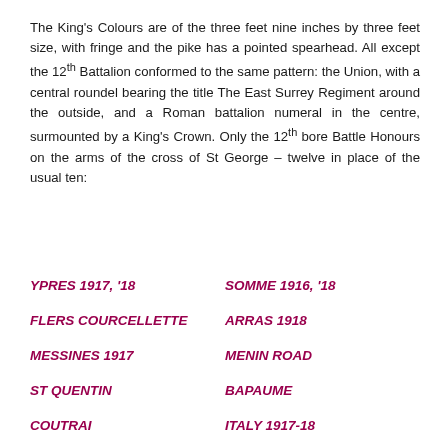The King's Colours are of the three feet nine inches by three feet size, with fringe and the pike has a pointed spearhead. All except the 12th Battalion conformed to the same pattern: the Union, with a central roundel bearing the title The East Surrey Regiment around the outside, and a Roman battalion numeral in the centre, surmounted by a King's Crown. Only the 12th bore Battle Honours on the arms of the cross of St George – twelve in place of the usual ten:
YPRES 1917, '18
SOMME 1916, '18
FLERS COURCELLETTE
ARRAS 1918
MESSINES 1917
MENIN ROAD
ST QUENTIN
BAPAUME
COUTRAI
ITALY 1917-18